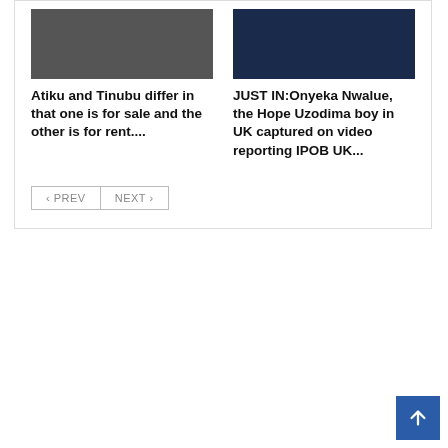[Figure (photo): Thumbnail image placeholder (dark/grey) for article about Atiku and Tinubu]
Atiku and Tinubu differ in that one is for sale and the other is for rent....
[Figure (photo): Thumbnail image placeholder (dark/navy) for article about Onyeka Nwalue]
JUST IN:Onyeka Nwalue, the Hope Uzodima boy in UK captured on video reporting IPOB UK...
PREV   NEXT